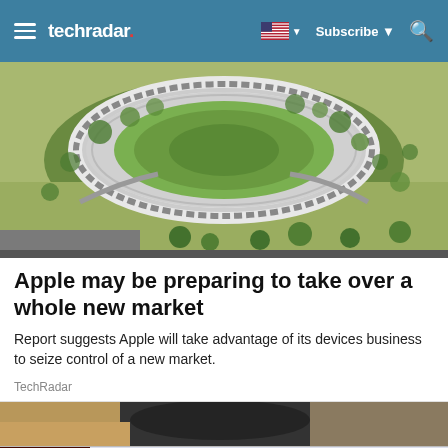techradar | Subscribe | Search
[Figure (photo): Aerial view of Apple Park, the circular Apple headquarters campus in Cupertino, California, surrounded by trees]
Apple may be preparing to take over a whole new market
Report suggests Apple will take advantage of its devices business to seize control of a new market.
TechRadar
[Figure (photo): Partial view of a second article image, appearing to show dark objects on a sandy/brown surface]
[Figure (other): Advertisement banner: Dickies® | Official Site | Workwear & Apparel — for work pants, work shirts, overalls, and coveralls. www.dickies.com]